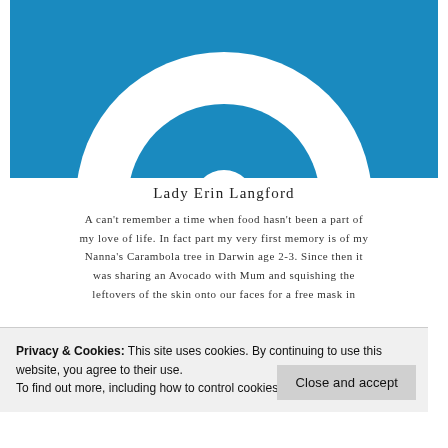[Figure (logo): Blue background with a white circular ring/donut shape (partially visible), resembling a website avatar or logo on a blue background.]
Lady Erin Langford
A can't remember a time when food hasn't been a part of my love of life. In fact part my very first memory is of my Nanna's Carambola tree in Darwin age 2-3. Since then it was sharing an Avocado with Mum and squishing the leftovers of the skin onto our faces for a free mask in
Privacy & Cookies: This site uses cookies. By continuing to use this website, you agree to their use.
To find out more, including how to control cookies, see here: Cookie Policy
Close and accept